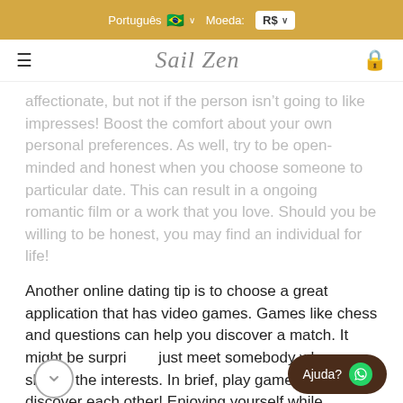Português 🇧🇷 ∨   Moeda: R$ ∨
[Figure (logo): Sail Zen script logo with hamburger menu and cart icon]
affectionate, but not if the person isn't going to like impresses! Boost the comfort about your own personal preferences. As well, try to be open-minded and honest when you choose someone to particular date. This can result in a ongoing romantic film or a work that you love. Should you be willing to be honest, you may find an individual for life!
Another online dating tip is to choose a great application that has video games. Games like chess and questions can help you discover a match. It might be surprising just meet somebody who shares the interests. In brief, play games to discover each other! Enjoying yourself while